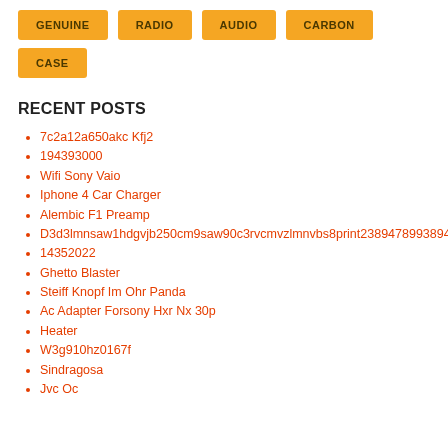GENUINE
RADIO
AUDIO
CARBON
CASE
RECENT POSTS
7c2a12a650akc Kfj2
194393000
Wifi Sony Vaio
Iphone 4 Car Charger
Alembic F1 Preamp
D3d3lmnsaw1hdgvjb250cm9saw90c3rvcmvzlmnvbs8print23894789938947…
14352022
Ghetto Blaster
Steiff Knopf Im Ohr Panda
Ac Adapter Forsony Hxr Nx 30p
Heater
W3g910hz0167f
Sindragosa
Jvc Oc